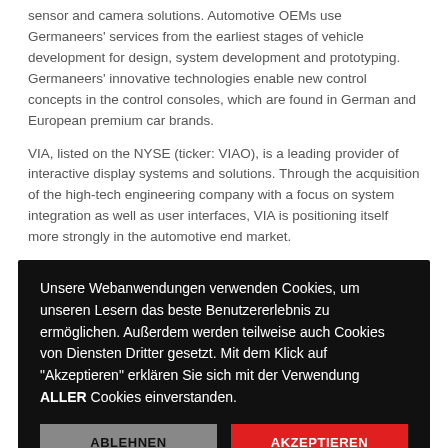sensor and camera solutions. Automotive OEMs use Germaneers' services from the earliest stages of vehicle development for design, system development and prototyping. Germaneers' innovative technologies enable new control concepts in the control consoles, which are found in German and European premium car brands.
VIA, listed on the NYSE (ticker: VIAO), is a leading provider of interactive display systems and solutions. Through the acquisition of the high-tech engineering company with a focus on system integration as well as user interfaces, VIA is positioning itself more strongly in the automotive end market.
Unsere Webanwendungen verwenden Cookies, um unseren Lesern das beste Benutzererlebnis zu ermöglichen. Außerdem werden teilweise auch Cookies von Diensten Dritter gesetzt. Mit dem Klick auf "Akzeptieren" erklären Sie sich mit der Verwendung ALLER Cookies einverstanden.
ABLEHNEN
AKZEPTIEREN
Datenschutzerklärung
Related posts